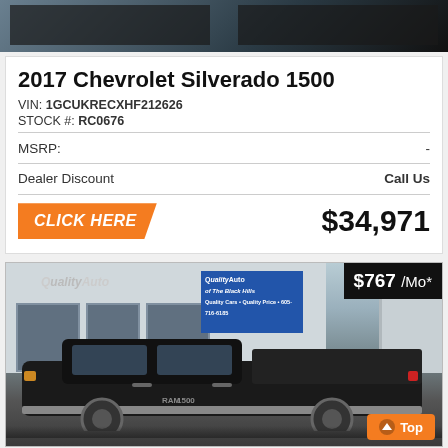[Figure (photo): Top portion of a vehicle photo, dark/black truck partially visible at top]
2017 Chevrolet Silverado 1500
VIN: 1GCUKRECXHF212626
STOCK #: RC0676
MSRP: -
Dealer Discount  Call Us
CLICK HERE  $34,971
[Figure (photo): Photo of a black Ram 1500 truck parked in front of Quality Auto dealership. Price overlay shows $767/Mo* in top right corner. Top button in bottom right corner.]